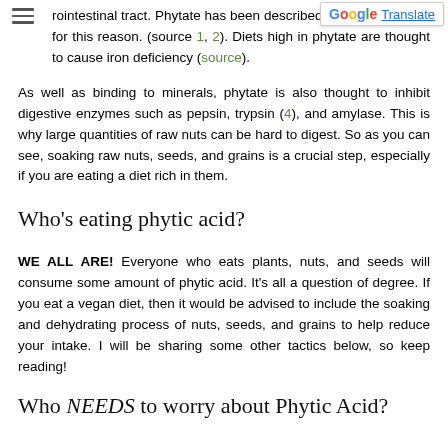rointestinal tract. Phytate has been described as an anti-nutrient for this reason. (source 1, 2). Diets high in phytate are thought to cause iron deficiency (source).
As well as binding to minerals, phytate is also thought to inhibit digestive enzymes such as pepsin, trypsin (4), and amylase. This is why large quantities of raw nuts can be hard to digest. So as you can see, soaking raw nuts, seeds, and grains is a crucial step, especially if you are eating a diet rich in them.
Who's eating phytic acid?
WE ALL ARE! Everyone who eats plants, nuts, and seeds will consume some amount of phytic acid. It's all a question of degree. If you eat a vegan diet, then it would be advised to include the soaking and dehydrating process of nuts, seeds, and grains to help reduce your intake. I will be sharing some other tactics below, so keep reading!
Who NEEDS to worry about Phytic Acid?